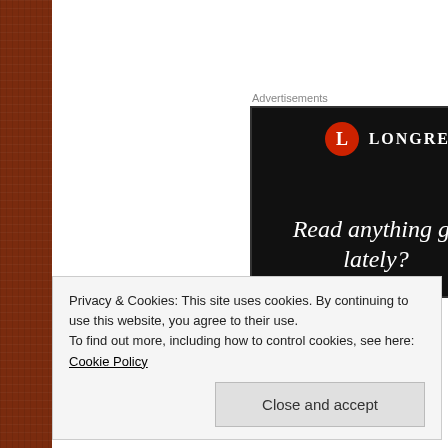[Figure (screenshot): Longreads advertisement banner on black background with logo and tagline 'Read anything gr... lately?']
It was back to the hotel room to catch some zzz's. I like to shower b... clean sheets. I'm not a morning person, so I get as organized as I ca... everything ready for when the alarm goes off.
Privacy & Cookies: This site uses cookies. By continuing to use this website, you agree to their use.
To find out more, including how to control cookies, see here: Cookie Policy
Close and accept